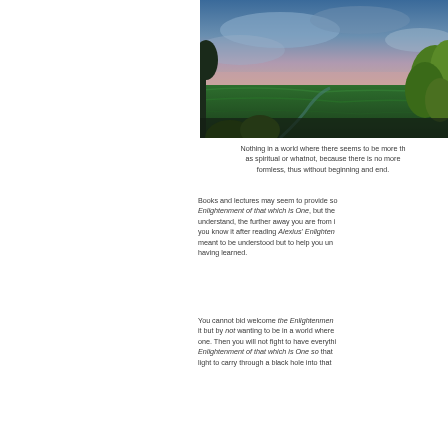[Figure (photo): Landscape photograph showing a panoramic view of green fields under a dramatic blue and pink sky at dusk or dawn, with trees and foliage visible in the foreground.]
Nothing in a world where there seems to be more th... as spiritual or whatnot, because there is no more... formless, thus without beginning and end.
Books and lectures may seem to provide so... Enlightenment of that which is One, but the... understand, the further away you are from i... you know it after reading Alexius' Enlighten... meant to be understood but to help you un... having learned.
You cannot bid welcome the Enlightenmen... it but by not wanting to be in a world where... one. Then you will not fight to have everythi... Enlightenment of that which is One so that... light to carry through a black hole into that...